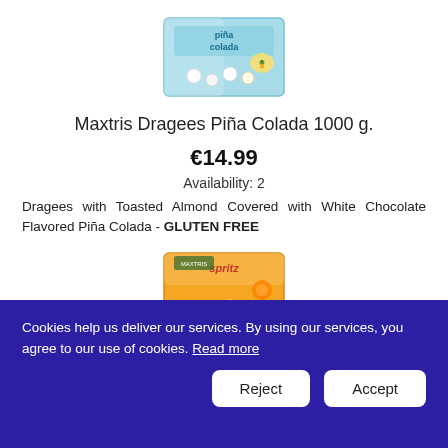[Figure (photo): Maxtris Dragees Piña Colada 1000g product box — light blue box with Piña Colada branding]
Maxtris Dragees Piña Colada 1000 g.
€14.99
Availability: 2
Dragees with Toasted Almond Covered with White Chocolate Flavored Piña Colada - GLUTEN FREE
[Figure (photo): Maxtris Dragees Spritz 1000g product box — orange/yellow box with Spritz branding]
Maxtris Dragees Spritz 1000 g.
Cookies help us deliver our services. By using our services, you agree to our use of cookies. Read more